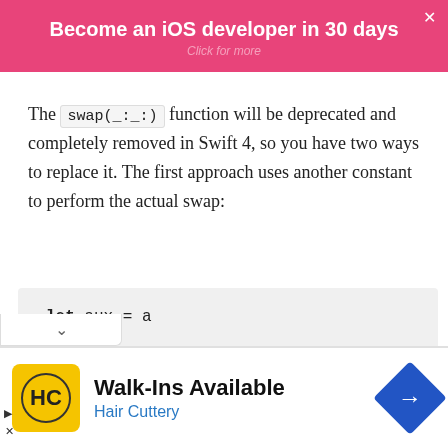[Figure (other): Pink banner ad: 'Become an iOS developer in 30 days' with 'Click for more' subtitle and X close button]
The swap(_:_:) function will be deprecated and completely removed in Swift 4, so you have two ways to replace it. The first approach uses another constant to perform the actual swap:
let aux = a
a = b
b = aux
[Figure (other): Advertisement: Walk-Ins Available — Hair Cuttery, with HC logo and blue direction arrow icon]